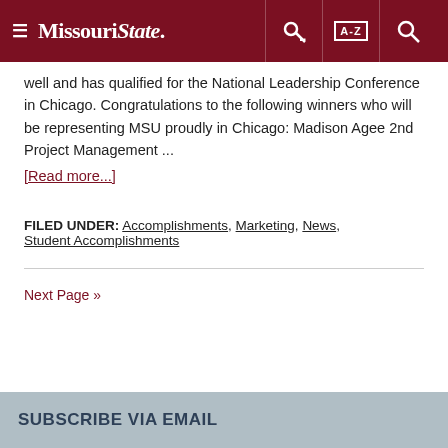Missouri State
well and has qualified for the National Leadership Conference in Chicago. Congratulations to the following winners who will be representing MSU proudly in Chicago: Madison Agee 2nd Project Management ...
[Read more...]
FILED UNDER: Accomplishments, Marketing, News, Student Accomplishments
Next Page »
SUBSCRIBE VIA EMAIL